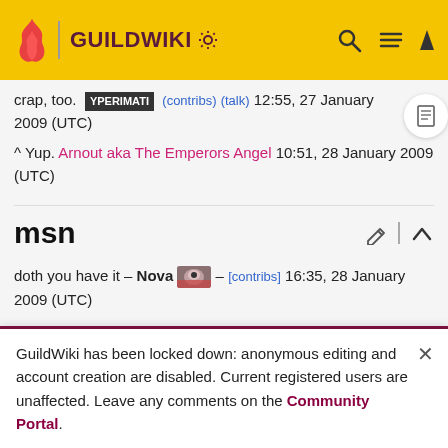GUILDWIKI
crap, too. [redacted] (contribs) (talk) 12:55, 27 January 2009 (UTC)
^ Yup. Arnout aka The Emperors Angel 10:51, 28 January 2009 (UTC)
msn
doth you have it – Nova [image] – [contribs] 16:35, 28 January 2009 (UTC)
he doth not. :( GET EET SALAD – [butterfly] Warw Warw/Wick 16:37, 28 January 2009 (UTC)
GuildWiki has been locked down: anonymous editing and account creation are disabled. Current registered users are unaffected. Leave any comments on the Community Portal.